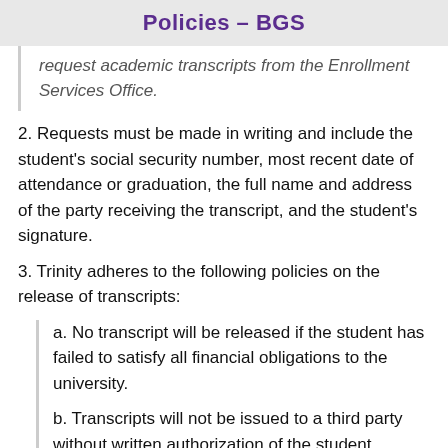Policies – BGS
request academic transcripts from the Enrollment Services Office.
2. Requests must be made in writing and include the student's social security number, most recent date of attendance or graduation, the full name and address of the party receiving the transcript, and the student's signature.
3. Trinity adheres to the following policies on the release of transcripts:
a. No transcript will be released if the student has failed to satisfy all financial obligations to the university.
b. Transcripts will not be issued to a third party without written authorization of the student.
c. A faxed transcript request will be accepted; this request must be signed by the student.